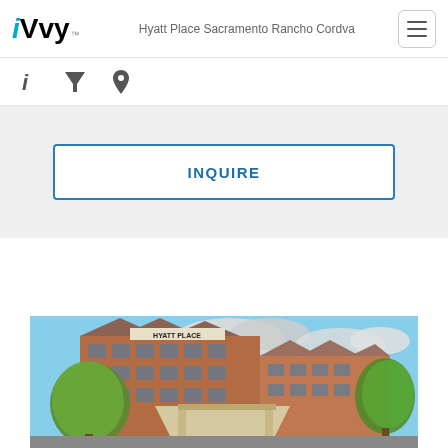iVvy — Hyatt Place Sacramento Rancho Cordva
[Figure (screenshot): Navigation icons: info (i), cocktail/filter, map pin location]
INQUIRE
[Figure (photo): Exterior photo of Hyatt Place hotel building: brick multi-story building with green trees and blue sky, entrance canopy visible with 'HYATT PLACE' sign on building facade]